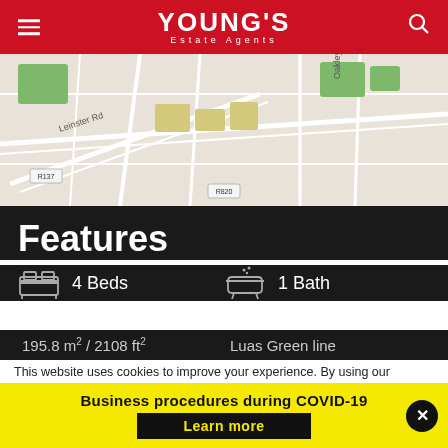YOUNG'S Estate Agents
[Figure (map): Street map showing Leinster Rd and Oakley Rd area with green spaces]
Features
4 Beds
1 Bath
195.8 m² / 2108 ft²
Luas Green line
This website uses cookies to improve your experience. By using our
Business procedures during COVID-19
Learn more